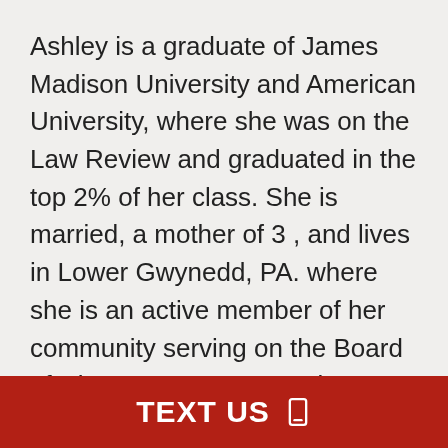Ashley is a graduate of James Madison University and American University, where she was on the Law Review and graduated in the top 2% of her class. She is married,  a mother of 3 , and lives in Lower Gwynedd, PA. where she is an active member of her community serving on the Board of Directors at Bear Creek Camp in Wilkes Barre, organizer of the Vacation Bible School and teaching Sunday school at Trinity Lutheran in Lansdale, Co-President of the Shady Grove Home and School Assoc. Ashley spent much of her years practicing law in the Philadelphia District Attorney's Office and the US Dept of Justice in DC before she took time off from her legal career to care for her children, aging parents and
TEXT US